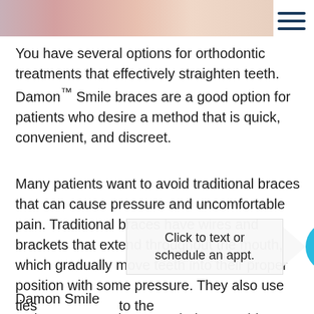[Figure (photo): Partial photo strip at the top showing a person, cropped to a thin horizontal band]
[Figure (other): Hamburger menu icon (three horizontal lines) in dark navy blue, top right corner]
You have several options for orthodontic treatments that effectively straighten teeth. Damon™ Smile braces are a good option for patients who desire a method that is quick, convenient, and discreet.
Many patients want to avoid traditional braces that can cause pressure and uncomfortable pain. Traditional braces have wires and brackets that extend throughout the mouth, which gradually move teeth into their proper position with some pressure. They also use ties [obscured] to the [obscured]
[Figure (infographic): Floating CTA widget: white speech bubble saying 'Click to text or schedule an appt.' with a rightward arrow and a cyan circle containing a calendar icon]
Damon Smile tech[nology is different] because [it] helps to guide teeth gently into place by reducing the